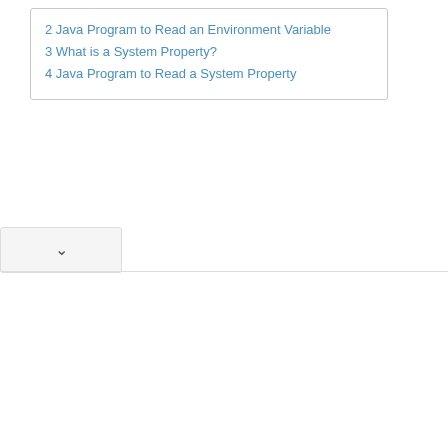2 Java Program to Read an Environment Variable
3 What is a System Property?
4 Java Program to Read a System Property